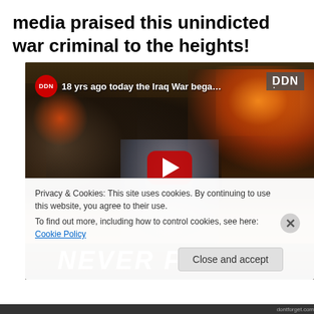media praised this unindicted war criminal to the heights!
[Figure (screenshot): YouTube video thumbnail showing DDN channel video titled '18 yrs ago today the Iraq War bega...' with a person smiling against a background of explosions and smoke. Large red YouTube play button in center. 'NEVER FORGET' text at bottom. Cookie consent overlay at bottom.]